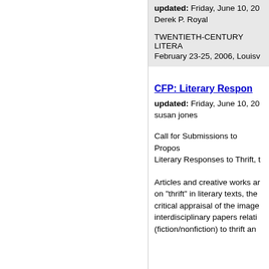updated: Friday, June 10, 20
Derek P. Royal
TWENTIETH-CENTURY LITERA
February 23-25, 2006, Louisv
CFP: Literary Respon
updated: Friday, June 10, 20
susan jones
Call for Submissions to Propo Literary Responses to Thrift, t
Articles and creative works a on "thrift" in literary texts, the critical appraisal of the image interdisciplinary papers relati (fiction/nonfiction) to thrift an